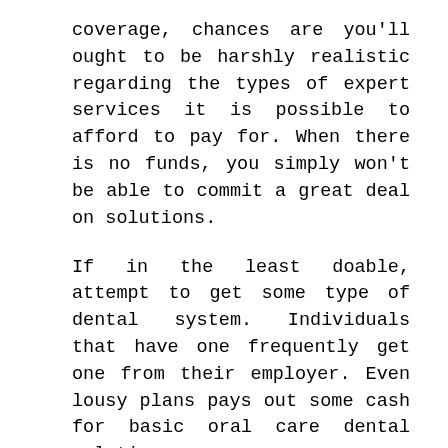coverage, chances are you'll ought to be harshly realistic regarding the types of expert services it is possible to afford to pay for. When there is no funds, you simply won't be able to commit a great deal on solutions.
If in the least doable, attempt to get some type of dental system. Individuals that have one frequently get one from their employer. Even lousy plans pays out some cash for basic oral care dental solutions.
For those who you should not have got a dental strategy and even now call for simple oral care, it is really nonetheless achievable to have this care. It necessitates some arranging in addition to a great romantic relationship with your dentist. Program your visits forward of your time to ensure you've the perfect time to conserve a part of your earning for your care of one's enamel. Chances are you'll desire to arrange for